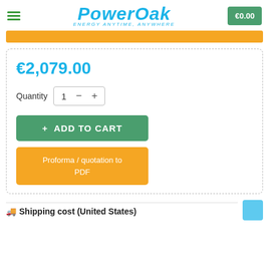[Figure (logo): PowerOak logo with tagline 'ENERGY ANYTIME, ANYWHERE' in cyan/blue italic font]
€0.00
€2,079.00
Quantity  1  −  +
+ ADD TO CART
Proforma / quotation to PDF
🚚 Shipping cost (United States)